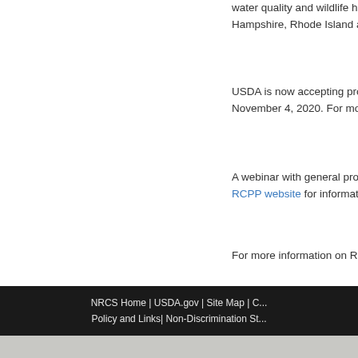water quality and wildlife h... Hampshire, Rhode Island a...
USDA is now accepting propos... November 4, 2020. For more i...
A webinar with general progra... RCPP website for information o...
For more information on RCPP...
NRCS Home | USDA.gov | Site Map | C... Policy and Links| Non-Discrimination St...